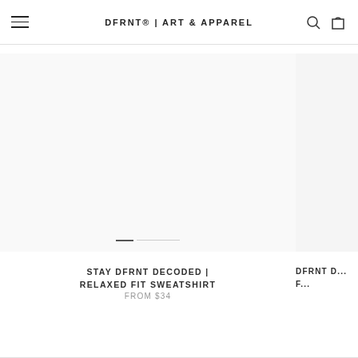DFRNT® | ART & APPAREL
[Figure (photo): Product image area for relaxed fit sweatshirt, white/light gray background with image slider indicator]
STAY DFRNT DECODED | RELAXED FIT SWEATSHIRT
FROM $34
[Figure (photo): Partially visible second product image on the right edge]
DFRNT D... F...